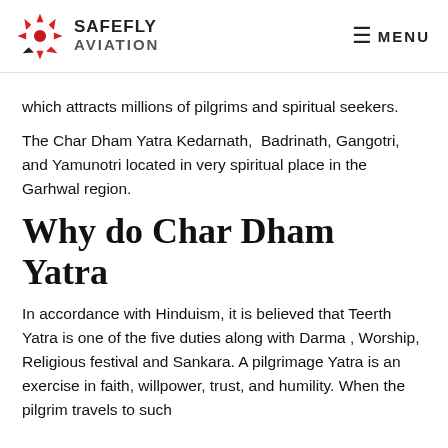SAFEFLY AVIATION | MENU
which attracts millions of pilgrims and spiritual seekers.
The Char Dham Yatra Kedarnath,  Badrinath, Gangotri, and Yamunotri located in very spiritual place in the Garhwal region.
Why do Char Dham Yatra
In accordance with Hinduism, it is believed that Teerth Yatra is one of the five duties along with Darma , Worship, Religious festival and Sankara. A pilgrimage Yatra is an exercise in faith, willpower, trust, and humility. When the pilgrim travels to such